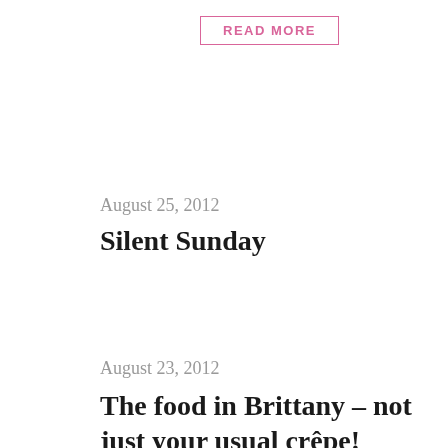READ MORE
August 25, 2012
Silent Sunday
August 23, 2012
The food in Brittany – not just your usual crêpe!